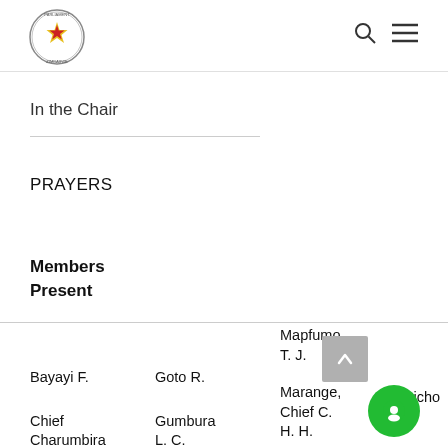Parliament of Zimbabwe — logo and navigation
In the Chair
PRAYERS
Members Present
Bayayi F.
Chief Charumbira
Goto R.
Gumbura L. C.
Mapfumo T. J.
Marange, Chief C. H. H.
Muchicho M.
Nem